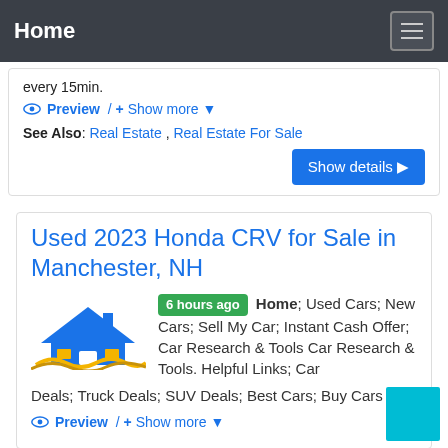Home
every 15min.
Preview / + Show more
See Also: Real Estate , Real Estate For Sale
Show details
Used 2023 Honda CRV for Sale in Manchester, NH
6 hours ago Home; Used Cars; New Cars; Sell My Car; Instant Cash Offer; Car Research & Tools Car Research & Tools. Helpful Links; Car Deals; Truck Deals; SUV Deals; Best Cars; Buy Cars ...
Preview / + Show more